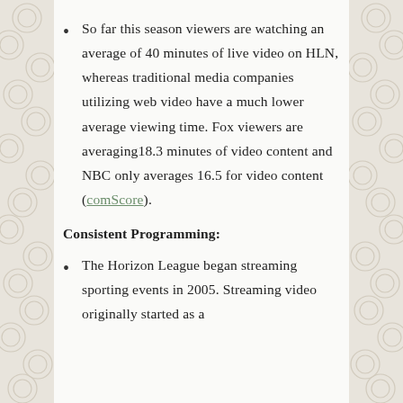So far this season viewers are watching an average of 40 minutes of live video on HLN, whereas traditional media companies utilizing web video have a much lower average viewing time. Fox viewers are averaging18.3 minutes of video content and NBC only averages 16.5 for video content (comScore).
Consistent Programming:
The Horizon League began streaming sporting events in 2005. Streaming video originally started as a